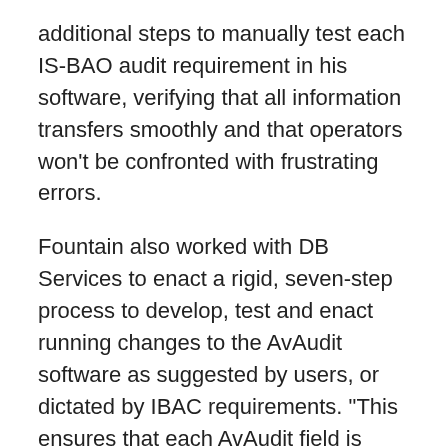additional steps to manually test each IS-BAO audit requirement in his software, verifying that all information transfers smoothly and that operators won’t be confronted with frustrating errors.
Fountain also worked with DB Services to enact a rigid, seven-step process to develop, test and enact running changes to the AvAudit software as suggested by users, or dictated by IBAC requirements. “This ensures that each AvAudit field is putting out exactly what it’s supposed to,” he said. “We’re qualifying AvAudit in front of the entire world, and that is a responsibility not to be taken lightly.”
Click here to schedule an AvAudit demo.